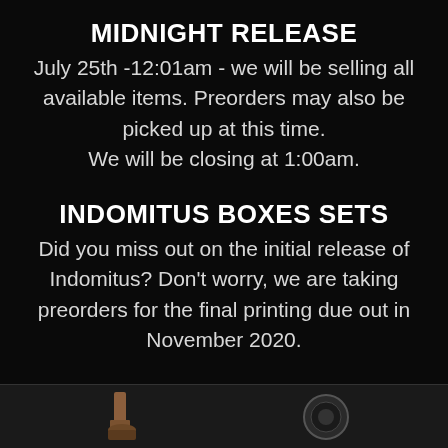MIDNIGHT RELEASE
July 25th -12:01am - we will be selling all available items.  Preorders may also be picked up at this time.
We will be closing at 1:00am.
INDOMITUS BOXES SETS
Did you miss out on the initial release of Indomitus?  Don't worry, we are taking preorders for the final printing due out in November 2020.
[Figure (photo): Bottom strip showing partial images of Warhammer 40K Indomitus box set miniatures on dark background]